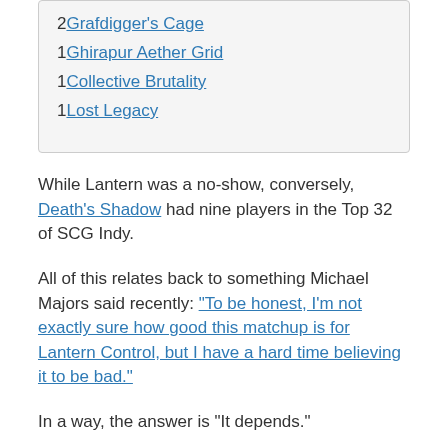2 Grafdigger's Cage
1 Ghirapur Aether Grid
1 Collective Brutality
1 Lost Legacy
While Lantern was a no-show, conversely, Death's Shadow had nine players in the Top 32 of SCG Indy.
All of this relates back to something Michael Majors said recently: “To be honest, I’m not exactly sure how good this matchup is for Lantern Control, but I have a hard time believing it to be bad.”
In a way, the answer is “It depends.”
Let’s take a quick glance at the two Death's Shadow lists from the Top 8 of SCG Indy: